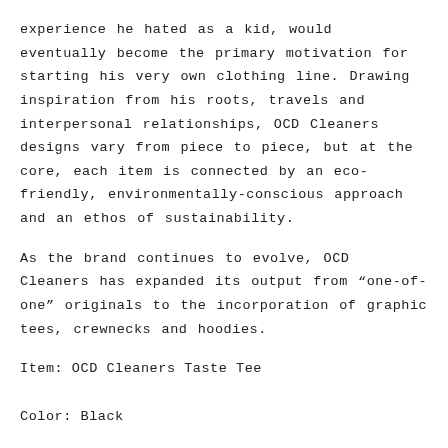experience he hated as a kid, would eventually become the primary motivation for starting his very own clothing line. Drawing inspiration from his roots, travels and interpersonal relationships, OCD Cleaners designs vary from piece to piece, but at the core, each item is connected by an eco-friendly, environmentally-conscious approach and an ethos of sustainability.
As the brand continues to evolve, OCD Cleaners has expanded its output from "one-of-one" originals to the incorporation of graphic tees, crewnecks and hoodies.
Item: OCD Cleaners Taste Tee
Color: Black
Sizing: US Men's
SHARE: